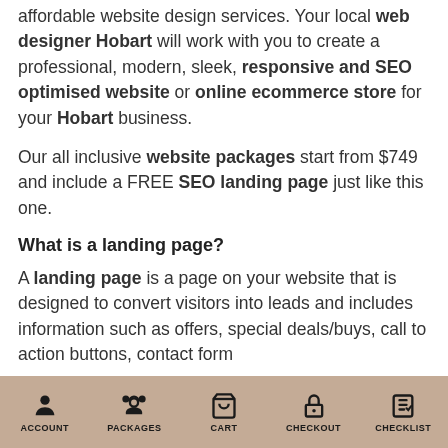affordable website design services. Your local web designer Hobart will work with you to create a professional, modern, sleek, responsive and SEO optimised website or online ecommerce store for your Hobart business.
Our all inclusive website packages start from $749 and include a FREE SEO landing page just like this one.
What is a landing page?
A landing page is a page on your website that is designed to convert visitors into leads and includes information such as offers, special deals/buys, call to action buttons, contact form
ACCOUNT  PACKAGES  CART  CHECKOUT  CHECKLIST